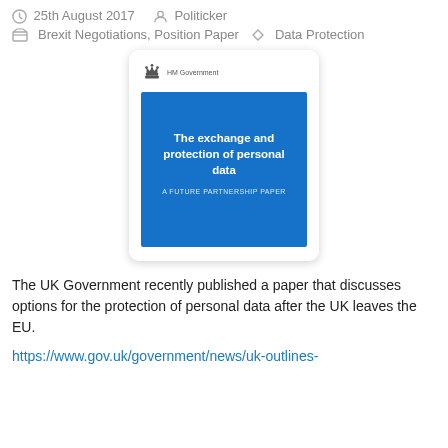25th August 2017  Politicker
Brexit Negotiations, Position Paper  Data Protection
[Figure (illustration): Cover image of UK Government document titled 'The exchange and protection of personal data: A Future Partnership Paper', showing HM Government logo and blue cover.]
The UK Government recently published a paper that discusses options for the protection of personal data after the UK leaves the EU.
https://www.gov.uk/government/news/uk-outlines-